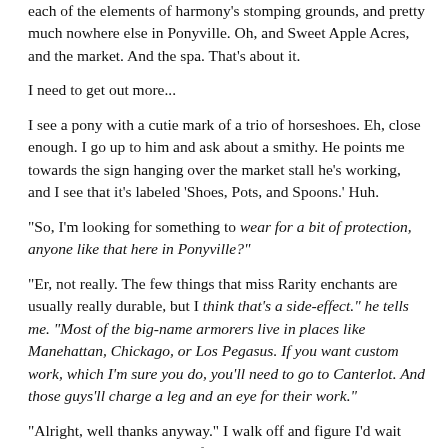each of the elements of harmony's stomping grounds, and pretty much nowhere else in Ponyville. Oh, and Sweet Apple Acres, and the market. And the spa. That's about it.
I need to get out more...
I see a pony with a cutie mark of a trio of horseshoes. Eh, close enough. I go up to him and ask about a smithy. He points me towards the sign hanging over the market stall he's working, and I see that it's labeled 'Shoes, Pots, and Spoons.' Huh.
“So, I’m looking for something to wear for a bit of protection, anyone like that here in Ponyville?”
“Er, not really. The few things that miss Rarity enchants are usually really durable, but I think that’s a side-effect.” he tells me. “Most of the big-name armorers live in places like Manehattan, Chickago, or Los Pegasus. If you want custom work, which I’m sure you do, you’ll need to go to Canterlot. And those guys’ll charge a leg and an eye for their work.”
“Alright, well thanks anyway.” I walk off and figure I’d wait until I got my arms back before making a trip anywhere outside of town. I might have a solution to the